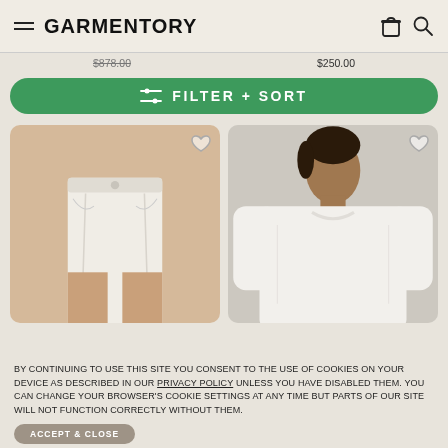GARMENTORY
$878.00  $250.00
FILTER + SORT
[Figure (photo): White denim mini skirt on a model, cropped at waist and mid-thigh]
[Figure (photo): Woman wearing a white long-sleeve crewneck sweatshirt, neutral background]
BY CONTINUING TO USE THIS SITE YOU CONSENT TO THE USE OF COOKIES ON YOUR DEVICE AS DESCRIBED IN OUR PRIVACY POLICY UNLESS YOU HAVE DISABLED THEM. YOU CAN CHANGE YOUR BROWSER'S COOKIE SETTINGS AT ANY TIME BUT PARTS OF OUR SITE WILL NOT FUNCTION CORRECTLY WITHOUT THEM.
ACCEPT & CLOSE